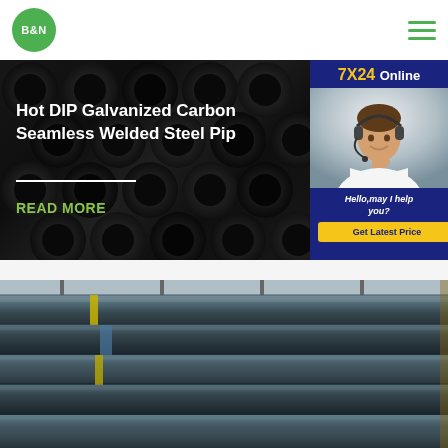[Figure (logo): B&N green circular logo in top left of header]
[Figure (infographic): Hamburger menu icon (three green horizontal lines) in top right of header]
[Figure (photo): Dark steel pipe ends (circular cross-sections) as banner background image]
Hot DIP Galvanized Carbon Seamless Welded Steel Pipe
READ MORE
[Figure (infographic): 7X24 Online customer support panel with photo of woman wearing headset, navy blue background, yellow button saying Get Latest Price. Text: Hello,may I help you?]
[Figure (photo): Stack of dark steel pipes viewed from the side, bundled together with yellow/blue strapping]